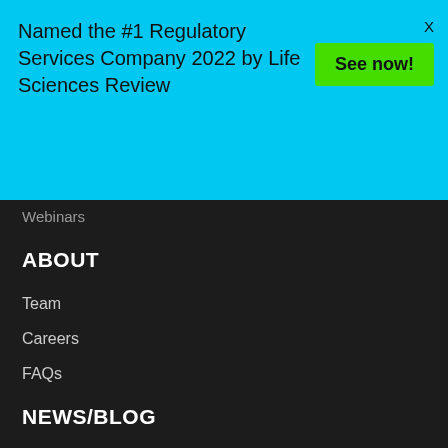Named the #1 Regulatory Services Company 2022 by Life Sciences Review
See now!
X
Webinars
ABOUT
Team
Careers
FAQs
NEWS/BLOG
Blog: Connecting the Dots
Featured Article